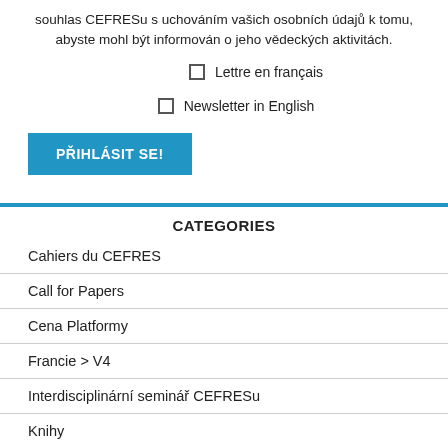souhlas CEFRESu s uchováním vašich osobních údajů k tomu, abyste mohl být informován o jeho vědeckých aktivitách.
Lettre en français
Newsletter in English
PŘIHLÁSIT SE!
CATEGORIES
Cahiers du CEFRES
Call for Papers
Cena Platformy
Francie > V4
Interdisciplinární seminář CEFRESu
Knihy